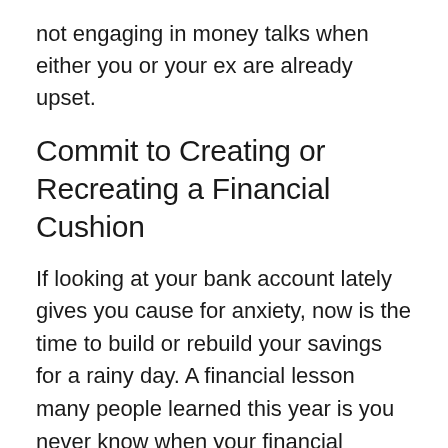not engaging in money talks when either you or your ex are already upset.
Commit to Creating or Recreating a Financial Cushion
If looking at your bank account lately gives you cause for anxiety, now is the time to build or rebuild your savings for a rainy day. A financial lesson many people learned this year is you never know when your financial circumstances can change. As you approach the new year, make a list of the expenses associated with your new lifestyle, with an eye for reducing discretionary expenses. This is